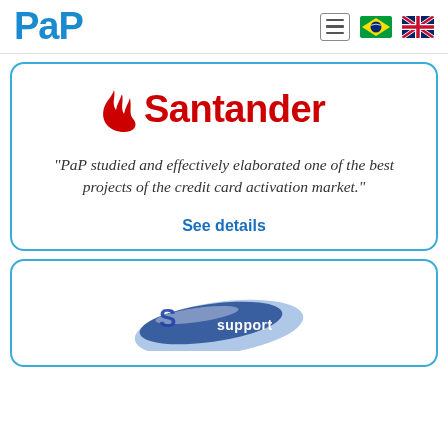PaP
[Figure (logo): Santander bank logo with red flame icon and red Santander wordmark]
“PaP studied and effectively elaborated one of the best projects of the credit card activation market.”
See details
[Figure (logo): Support company logo with blue swoosh design and 'support' text]